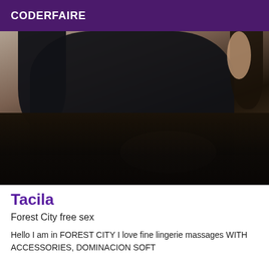CODERFAIRE
[Figure (photo): A person wearing a black dress and black stockings, posed on a wooden surface, photographed from behind/side angle.]
Tacila
Forest City free sex
Hello I am in FOREST CITY I love fine lingerie massages WITH ACCESSORIES, DOMINACION SOFT